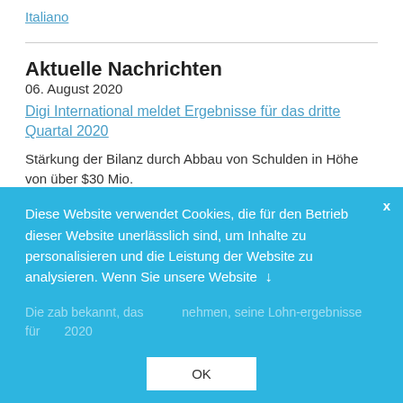Italiano
Aktuelle Nachrichten
06. August 2020
Digi International meldet Ergebnisse für das dritte Quartal 2020
Stärkung der Bilanz durch Abbau von Schulden in Höhe von über $30 Mio.
Diese Website verwendet Cookies, die für den Betrieb dieser Website unerlässlich sind, um Inhalte zu personalisieren und die Leistung der Website zu analysieren. Wenn Sie unsere Website
OK